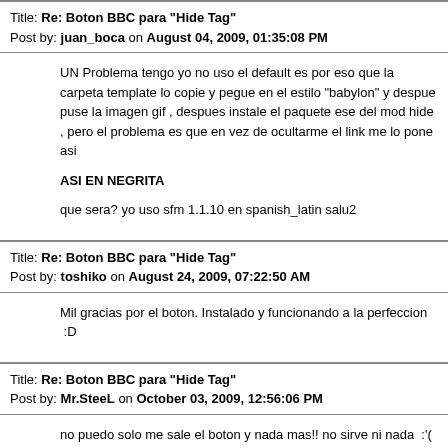Title: Re: Boton BBC para "Hide Tag"
Post by: juan_boca on August 04, 2009, 01:35:08 PM
UN Problema tengo yo no uso el default es por eso que la carpeta template lo copie y pegue en el estilo "babylon" y despue puse la imagen gif , despues instale el paquete ese del mod hide , pero el problema es que en vez de ocultarme el link me lo pone asi
ASI EN NEGRITA
que sera? yo uso sfm 1.1.10 en spanish_latin salu2
Title: Re: Boton BBC para "Hide Tag"
Post by: toshiko on August 24, 2009, 07:22:50 AM
Mil gracias por el boton. Instalado y funcionando a la perfeccion  ;D
Title: Re: Boton BBC para "Hide Tag"
Post by: Mr.SteeL on October 03, 2009, 12:56:06 PM
no puedo solo me sale el boton y nada mas!! no sirve ni nada  :'(
mi foro es: www*.servidor-americano.tk/    Sin el *